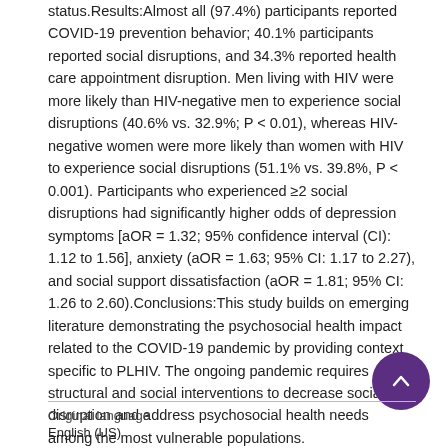status.Results:Almost all (97.4%) participants reported COVID-19 prevention behavior; 40.1% participants reported social disruptions, and 34.3% reported health care appointment disruption. Men living with HIV were more likely than HIV-negative men to experience social disruptions (40.6% vs. 32.9%; P < 0.01), whereas HIV-negative women were more likely than women with HIV to experience social disruptions (51.1% vs. 39.8%, P < 0.001). Participants who experienced ≥2 social disruptions had significantly higher odds of depression symptoms [aOR = 1.32; 95% confidence interval (CI): 1.12 to 1.56], anxiety (aOR = 1.63; 95% CI: 1.17 to 2.27), and social support dissatisfaction (aOR = 1.81; 95% CI: 1.26 to 2.60).Conclusions:This study builds on emerging literature demonstrating the psychosocial health impact related to the COVID-19 pandemic by providing context specific to PLHIV. The ongoing pandemic requires structural and social interventions to decrease social disruption and address psychosocial health needs among the most vulnerable populations.
Original language
English (US)